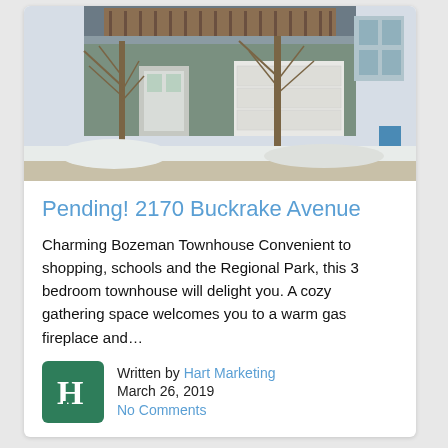[Figure (photo): Exterior photo of a townhouse in winter with snow on the ground, bare trees, gray and green siding, white garage door, and a wooden deck visible on the upper level.]
Pending! 2170 Buckrake Avenue
Charming Bozeman Townhouse Convenient to shopping, schools and the Regional Park, this 3 bedroom townhouse will delight you. A cozy gathering space welcomes you to a warm gas fireplace and…
Written by Hart Marketing
March 26, 2019
No Comments